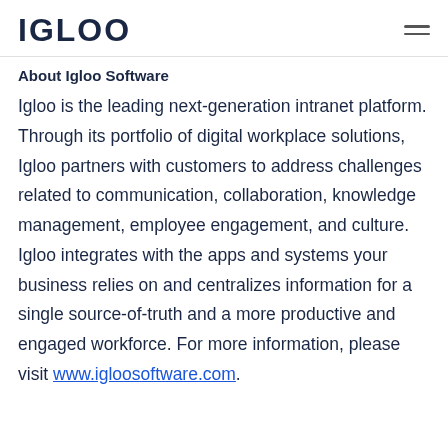IGLOO
About Igloo Software
Igloo is the leading next-generation intranet platform. Through its portfolio of digital workplace solutions, Igloo partners with customers to address challenges related to communication, collaboration, knowledge management, employee engagement, and culture.  Igloo integrates with the apps and systems your business relies on and centralizes information for a single source-of-truth and a more productive and engaged workforce. For more information, please visit www.igloosoftware.com.